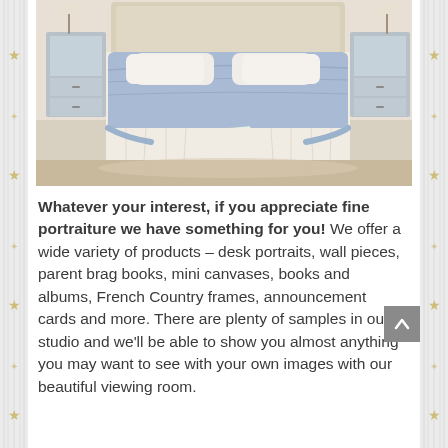[Figure (photo): Bedroom scene showing a bed with a light blue comforter, white pillows, a cushioned bench at the foot of the bed with an open book on it, mirrored nightstands on either side, and a neutral-toned headboard. The room has a soft, elegant aesthetic.]
Whatever your interest, if you appreciate fine portraiture we have something for you! We offer a wide variety of products – desk portraits, wall pieces, parent brag books, mini canvases, books and albums, French Country frames, announcement cards and more. There are plenty of samples in our studio and we'll be able to show you almost anything you may want to see with your own images with our beautiful viewing room.